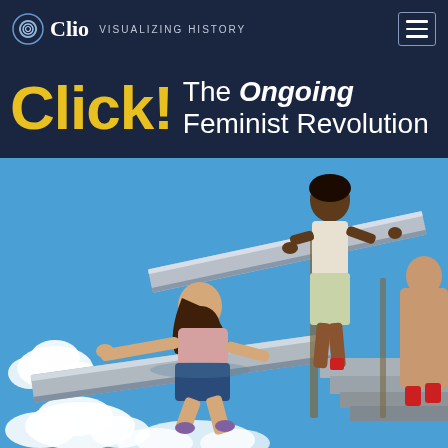Clio Visualizing History
Click! The Ongoing Feminist Revolution
[Figure (illustration): Illustration of women working together on a structure of grey stone slabs against a bright blue sky with clouds. A Black woman in a white top stands at top holding a large slab, while a lighter-skinned woman with dark hair crouches below pushing up another slab. Partial figure visible at right edge.]